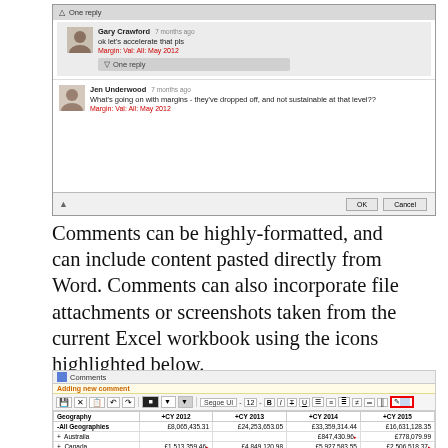[Figure (screenshot): Screenshot of a comment thread dialog showing Gary Crawford's reply 'ok let's accelerate that pls' with merge info, and Jen Underwood's comment 'What's going on with margins - they've dropped off, and not sustainable at that level??' with OK and Cancel buttons]
Comments can be highly-formatted, and can include content pasted directly from Word. Comments can also incorporate file attachments or screenshots taken from the current Excel workbook using the icons highlighted below.
[Figure (screenshot): Screenshot of Excel Comments panel showing 'Adding new comment' toolbar with formatting options (Segoe UI font, bold, italic, etc.) and a data table with Geography rows showing financial data for CY 2012-2015 including All Geographies, Australia, Canada, France, Germany, United Kingdom, United States]